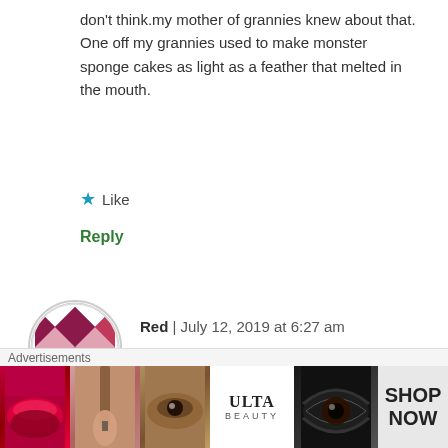don't think.my mother of grannies knew about that. One off my grannies used to make monster sponge cakes as light as a feather that melted in the mouth.
★ Like
Reply
[Figure (illustration): Round avatar with red and white diamond/checker pattern]
Red | July 12, 2019 at 6:27 am
👍 9 👎 0 ℹ Rate This
Noooo... Not sausages!!! Blinking predictive text (I checked everything before posting!). AQUAFABA !!!! Apologies in advance to any Vegan bakers. Two dessertspoonfuls per egg
[Figure (photo): Ulta Beauty advertisement banner with makeup imagery and SHOP NOW text]